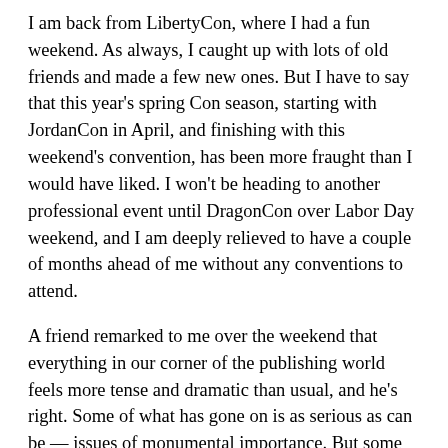I am back from LibertyCon, where I had a fun weekend. As always, I caught up with lots of old friends and made a few new ones. But I have to say that this year's spring Con season, starting with JordanCon in April, and finishing with this weekend's convention, has been more fraught than I would have liked. I won't be heading to another professional event until DragonCon over Labor Day weekend, and I am deeply relieved to have a couple of months ahead of me without any conventions to attend.
A friend remarked to me over the weekend that everything in our corner of the publishing world feels more tense and dramatic than usual, and he's right. Some of what has gone on is as serious as can be — issues of monumental importance. But some of it has resulted from the actions of opportunists seeking to turn the misfortune of others to their advantage. And some of it has been so childish as to defy comprehension. It's like we have forgotten how to be adults, and are trapped in some God-awful episode of Star Trek in which aliens have